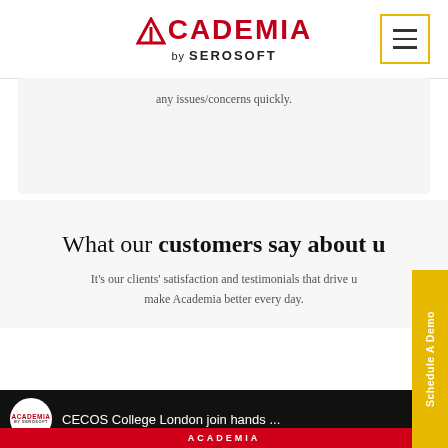ACADEMIA by SEROSOFT
any issues/concerns quickly.
What our customers say about us
It's our clients' satisfaction and testimonials that drive us to make Academia better every day.
[Figure (screenshot): Video bar showing Academia logo circle and text: CECOS College London join hands ...]
[Figure (logo): ACADEMIA watermark strip at the bottom]